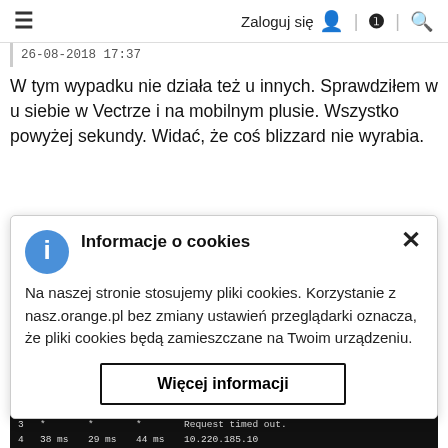≡   Zaloguj się  ?  🔍
26-08-2018 17:37
W tym wypadku nie działa też u innych. Sprawdziłem w u siebie w Vectrze i na mobilnym plusie. Wszystko powyżej sekundy. Widać, że coś blizzard nie wyrabia.
Informacje o cookies
Na naszej stronie stosujemy pliki cookies. Korzystanie z nasz.orange.pl bez zmiany ustawień przeglądarki oznacza, że pliki cookies będą zamieszczane na Twoim urządzeniu.
Więcej informacji
[Figure (screenshot): Terminal window showing traceroute output to 185.68.114.153 over a maximum of 30 hops, with hop lines showing ms times and hostnames.]